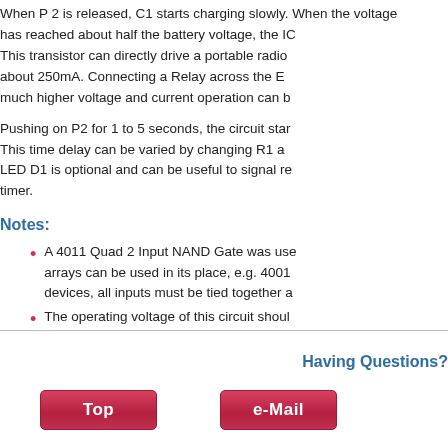When P 2 is released, C1 starts charging slowly. When the voltage has reached about half the battery voltage, the IC triggers. This transistor can directly drive a portable radio drawing about 250mA. Connecting a Relay across the Emitter... much higher voltage and current operation can b...
Pushing on P2 for 1 to 5 seconds, the circuit star... This time delay can be varied by changing R1 a... LED D1 is optional and can be useful to signal re... timer.
Notes:
A 4011 Quad 2 Input NAND Gate was use... arrays can be used in its place, e.g. 4001... devices, all inputs must be tied together a...
The operating voltage of this circuit shoul...
Having Questions?
Top
e-Mail